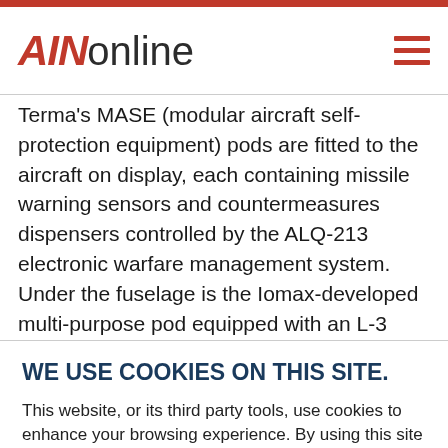AINonline
Terma's MASE (modular aircraft self-protection equipment) pods are fitted to the aircraft on display, each containing missile warning sensors and countermeasures dispensers controlled by the ALQ-213 electronic warfare management system. Under the fuselage is the Iomax-developed multi-purpose pod equipped with an L-3 Wescam MX-15 sensor
WE USE COOKIES ON THIS SITE.
This website, or its third party tools, use cookies to enhance your browsing experience. By using this site you agree to this use of cookies. Learn More
ACCEPT